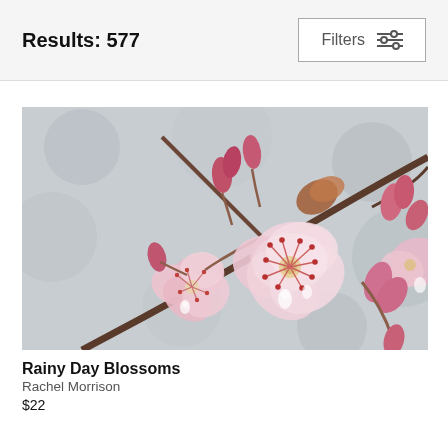Results: 577
Filters
[Figure (photo): Close-up photograph of cherry blossom flowers with rain droplets on pink petals and buds, against a soft grey bokeh background.]
Rainy Day Blossoms
Rachel Morrison
$22